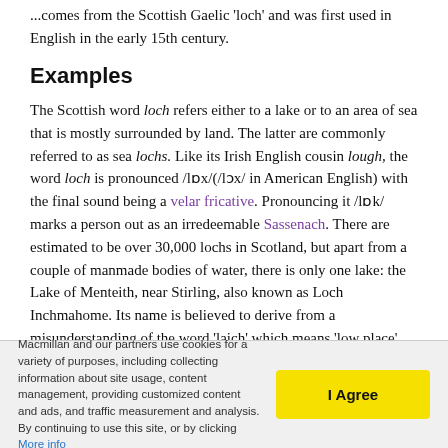...comes from the Scottish Gaelic 'loch' and was first used in English in the early 15th century.
Examples
The Scottish word loch refers either to a lake or to an area of sea that is mostly surrounded by land. The latter are commonly referred to as sea lochs. Like its Irish English cousin lough, the word loch is pronounced /lɒx/(/lɔx/ in American English) with the final sound being a velar fricative. Pronouncing it /lɒk/ marks a person out as an irredeemable Sassenach. There are estimated to be over 30,000 lochs in Scotland, but apart from a couple of manmade bodies of water, there is only one lake: the Lake of Menteith, near Stirling, also known as Loch Inchmahome. Its name is believed to derive from a misunderstanding of the word 'laich' which means 'low place'.
Macmillan and our partners use cookies for a variety of purposes, including collecting information about site usage, content management, providing customized content and ads, and traffic measurement and analysis. By continuing to use this site, or by clicking More info